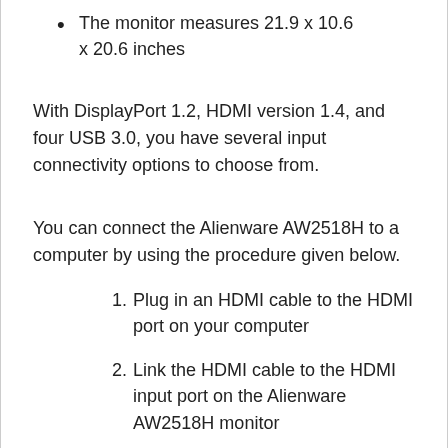The monitor measures 21.9 x 10.6 x 20.6 inches
With DisplayPort 1.2, HDMI version 1.4, and four USB 3.0, you have several input connectivity options to choose from.
You can connect the Alienware AW2518H to a computer by using the procedure given below.
1. Plug in an HDMI cable to the HDMI port on your computer
2. Link the HDMI cable to the HDMI input port on the Alienware AW2518H monitor